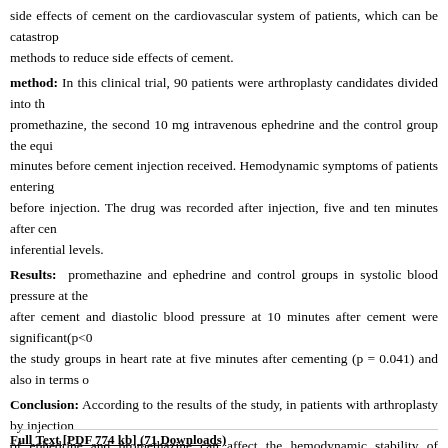side effects of cement on the cardiovascular system of patients, which can be catastrophic methods to reduce side effects of cement.
method: In this clinical trial, 90 patients were arthroplasty candidates divided into three groups: the first 10 mg intravenous promethazine, the second 10 mg intravenous ephedrine and the control group the equivalent volume of normal saline 10 minutes before cement injection received. Hemodynamic symptoms of patients entering the study were measured before injection. The drug was recorded after injection, five and ten minutes after cement. Data were analyzed at descriptive and inferential levels.
Results: promethazine and ephedrine and control groups in systolic blood pressure at the time of and five minutes after cement and diastolic blood pressure at 10 minutes after cement were significant(p<0.05). A meaningful difference of the study groups in heart rate at five minutes after cementing (p = 0.041) and also in terms of other variables.
Conclusion: According to the results of the study, in patients with arthroplasty by injection of cement before surgery, the use of ephedrine and promethazine can affect the hemodynamic stability of patients and help prevent a decrease in systolic and diastolic blood pressure and heart rate (promethazine) To minimize the complications of the cement.
Keywords: Arthroplasty, Cement, Ephedrine, Promethazine
Full Text [PDF 774 kb] (71 Downloads)